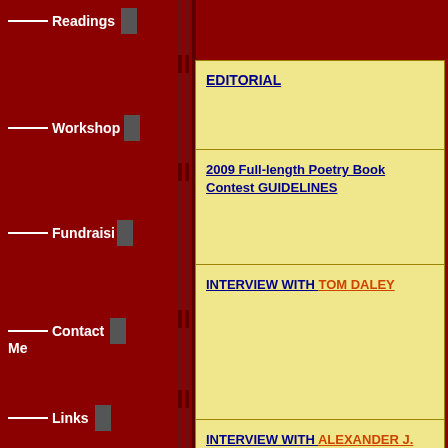Readings
Workshop
Fundraising
Contact
Me
Links
| EDITORIAL | RA... |
| 2009 Full-length Poetry Book Contest GUIDELINES | The... Pu... |
| INTERVIEW WITH TOM DALEY | INT... LE... by ... |
| INTERVIEW WITH ALEXANDER J. MOTYL
by Dzvinia Orlowsky |  |
EDITORIAL
Happy National Poetry Month!